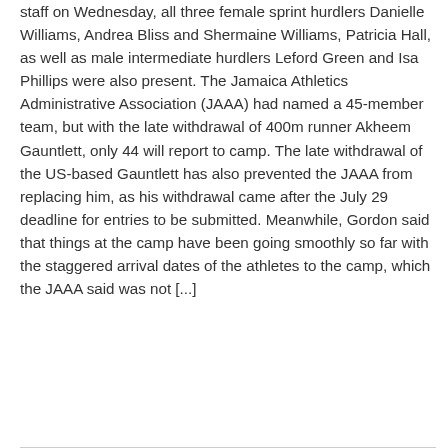staff on Wednesday, all three female sprint hurdlers Danielle Williams, Andrea Bliss and Shermaine Williams, Patricia Hall, as well as male intermediate hurdlers Leford Green and Isa Phillips were also present. The Jamaica Athletics Administrative Association (JAAA) had named a 45-member team, but with the late withdrawal of 400m runner Akheem Gauntlett, only 44 will report to camp. The late withdrawal of the US-based Gauntlett has also prevented the JAAA from replacing him, as his withdrawal came after the July 29 deadline for entries to be submitted. Meanwhile, Gordon said that things at the camp have been going smoothly so far with the staggered arrival dates of the athletes to the camp, which the JAAA said was not [...]
Read More